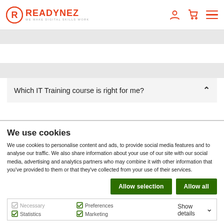[Figure (logo): Readynez logo with orange circular R icon and tagline WE MAKE DIGITAL SKILLS WORK]
Which IT Training course is right for me?
We use cookies
We use cookies to personalise content and ads, to provide social media features and to analyse our traffic. We also share information about your use of our site with our social media, advertising and analytics partners who may combine it with other information that you've provided to them or that they've collected from your use of their services.
Allow selection   Allow all
Necessary  Preferences  Statistics  Marketing  Show details